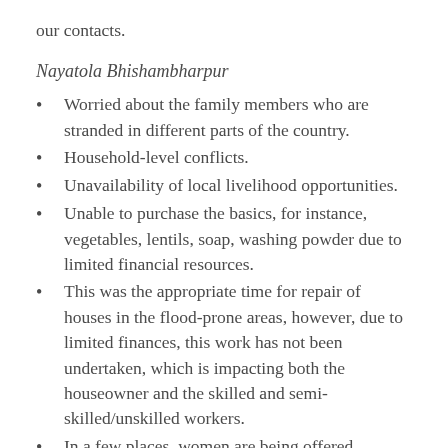our contacts.
Nayatola Bhishambharpur
Worried about the family members who are stranded in different parts of the country.
Household-level conflicts.
Unavailability of local livelihood opportunities.
Unable to purchase the basics, for instance, vegetables, lentils, soap, washing powder due to limited financial resources.
This was the appropriate time for repair of houses in the flood-prone areas, however, due to limited finances, this work has not been undertaken, which is impacting both the houseowner and the skilled and semi-skilled/unskilled workers.
In a few places, women are being offered